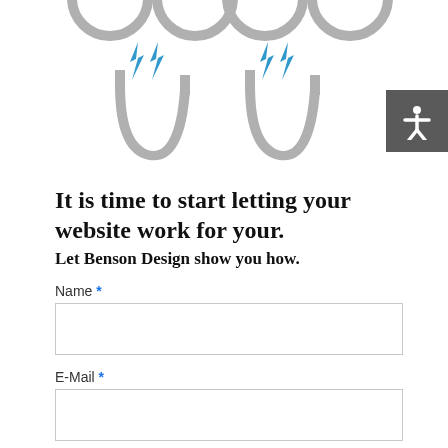[Figure (illustration): Decorative illustration showing horseshoe magnets with blue lightning bolt symbols above them, arranged in a row, drawn in a simple outline style with gray lines.]
It is time to start letting your website work for your.
Let Benson Design show you how.
Name *
E-Mail *
Subject *